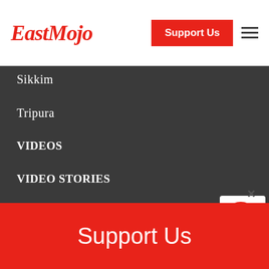EastMojo
Sikkim
Tripura
VIDEOS
VIDEO STORIES
DOCUMENTARIES
EM POSITIVE
IN-DEPTH
OPINION
BUSINESS
STARTUPS & ENTREPRENEURS
Support Us